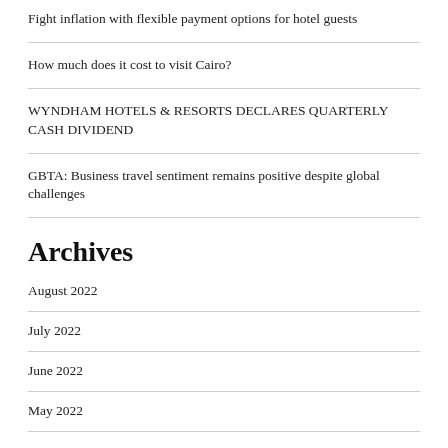Fight inflation with flexible payment options for hotel guests
How much does it cost to visit Cairo?
WYNDHAM HOTELS & RESORTS DECLARES QUARTERLY CASH DIVIDEND
GBTA: Business travel sentiment remains positive despite global challenges
Archives
August 2022
July 2022
June 2022
May 2022